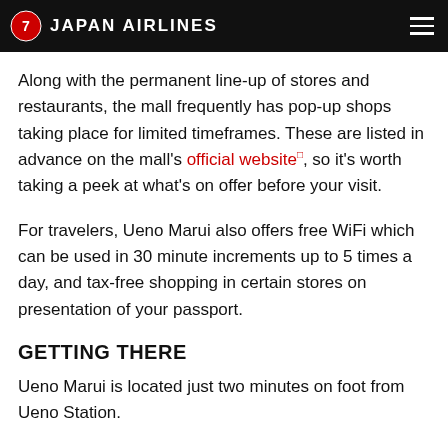JAPAN AIRLINES
Along with the permanent line-up of stores and restaurants, the mall frequently has pop-up shops taking place for limited timeframes. These are listed in advance on the mall's official website¹, so it's worth taking a peek at what's on offer before your visit.
For travelers, Ueno Marui also offers free WiFi which can be used in 30 minute increments up to 5 times a day, and tax-free shopping in certain stores on presentation of your passport.
GETTING THERE
Ueno Marui is located just two minutes on foot from Ueno Station.